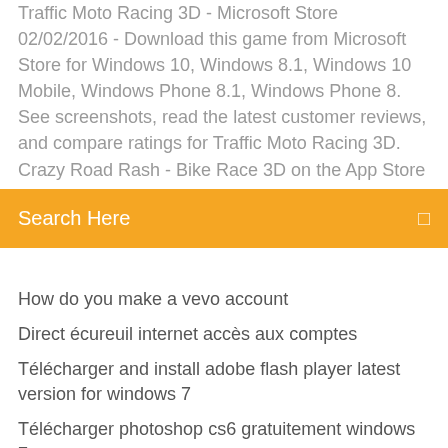Traffic Moto Racing 3D - Microsoft Store 02/02/2016 - Download this game from Microsoft Store for Windows 10, Windows 8.1, Windows 10 Mobile, Windows Phone 8.1, Windows Phone 8. See screenshots, read the latest customer reviews, and compare ratings for Traffic Moto Racing 3D. Crazy Road Rash - Bike Race 3D on the App Store
[Figure (screenshot): Orange search bar with 'Search Here' text and a search icon]
How do you make a vevo account
Direct écureuil internet accès aux comptes
Télécharger and install adobe flash player latest version for windows 7
Télécharger photoshop cs6 gratuitement windows 7
Intel graphics media accelerator driver télécharger for windows 7 32 bit
Sims 4 mods crac crac ado
Telecharger pokemon lets go android
Fusionner partition disque dur externe windows 10